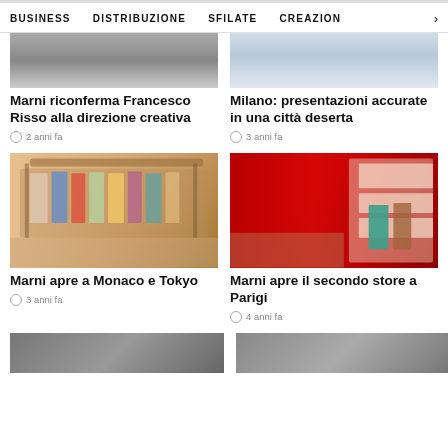BUSINESS    DISTRIBUZIONE    SFILATE    CREAZION  >
[Figure (photo): Black and white photo (top portion visible)]
Marni riconferma Francesco Risso alla direzione creativa
2 anni fa
[Figure (photo): Fashion presentation photo in light tones, partially visible]
Milano: presentazioni accurate in una città deserta
3 anni fa
[Figure (photo): Interior of Marni store with colorful clothes on rack, warm wood tones]
Marni apre a Monaco e Tokyo
3 anni fa
[Figure (photo): Interior of Marni store with red walls and display shelves]
Marni apre il secondo store a Parigi
4 anni fa
[Figure (photo): Bottom partial photos (two columns, cut off)]